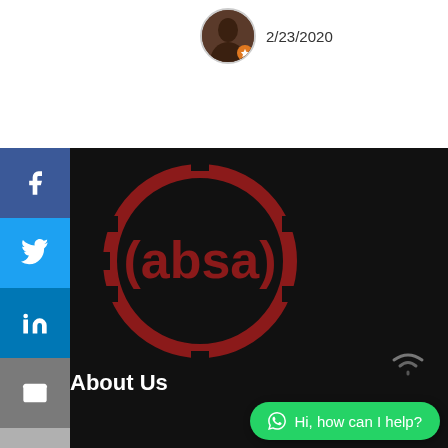[Figure (screenshot): User avatar photo (circular crop of a person) with an orange star badge, next to the date 2/23/2020]
2/23/2020
[Figure (logo): Absa bank logo: dark red circle ring with 'absa' text inside in bold dark red, on a black background]
About Us
[Figure (infographic): WhatsApp chat widget bubble with text 'Hi, how can I help?' in green rounded bubble, with a wifi/signal icon above it]